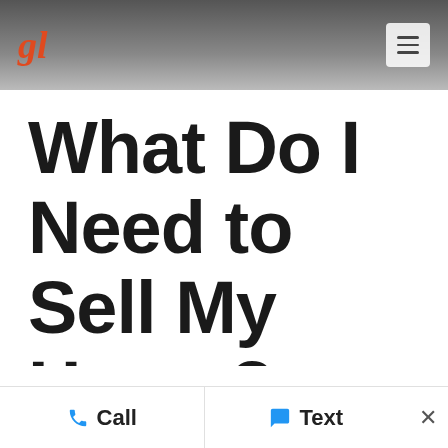gl
What Do I Need to Sell My Home? Use This Checklist